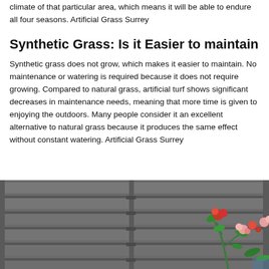climate of that particular area, which means it will be able to endure all four seasons. Artificial Grass Surrey
Synthetic Grass: Is it Easier to maintain
Synthetic grass does not grow, which makes it easier to maintain. No maintenance or watering is required because it does not require growing. Compared to natural grass, artificial turf shows significant decreases in maintenance needs, meaning that more time is given to enjoying the outdoors. Many people consider it an excellent alternative to natural grass because it produces the same effect without constant watering. Artificial Grass Surrey
[Figure (photo): Photo of a grey wooden fence/trellis with a flowering plant with red and pink blooms visible on the right side.]